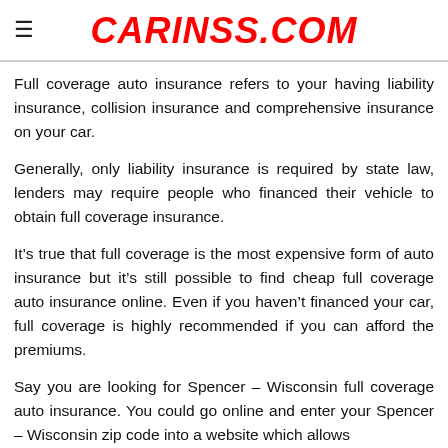CARINSS.COM
Full coverage auto insurance refers to your having liability insurance, collision insurance and comprehensive insurance on your car.
Generally, only liability insurance is required by state law, lenders may require people who financed their vehicle to obtain full coverage insurance.
It’s true that full coverage is the most expensive form of auto insurance but it’s still possible to find cheap full coverage auto insurance online. Even if you haven’t financed your car, full coverage is highly recommended if you can afford the premiums.
Say you are looking for Spencer – Wisconsin full coverage auto insurance. You could go online and enter your Spencer – Wisconsin zip code into a website which allows